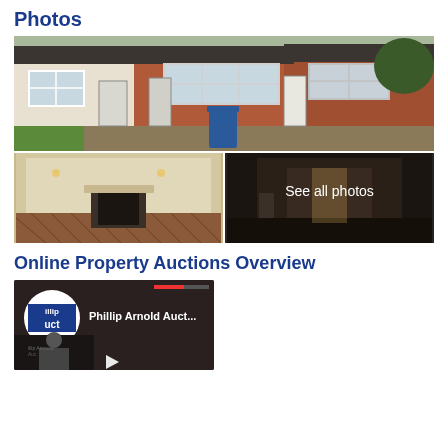Photos
[Figure (photo): Exterior photo of a row of semi-detached brick bungalows with white window frames, a white front door, and a blue recycling bin in the front yard]
[Figure (photo): Interior photo of an empty room with a fireplace and herringbone brick floor]
[Figure (photo): Dark hallway interior photo with 'See all photos' text overlay]
Online Property Auctions Overview
[Figure (screenshot): Video thumbnail showing Phillip Arnold Auctions logo and presenter, with play button]